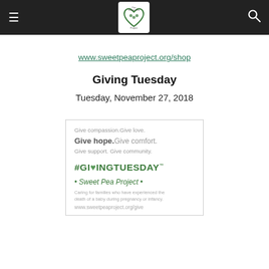The Sweet Pea Project
www.sweetpeaproject.org/shop
Giving Tuesday
Tuesday, November 27, 2018
[Figure (infographic): Giving Tuesday promotional graphic for Sweet Pea Project with text: Give compassion. Give love. Give hope. Give comfort. Give support. Give community. #GIVINGTUESDAY • Sweet Pea Project • Caring for families who have experienced the death of a baby during pregnancy or infancy. www.sweetpeaproject.org/give]